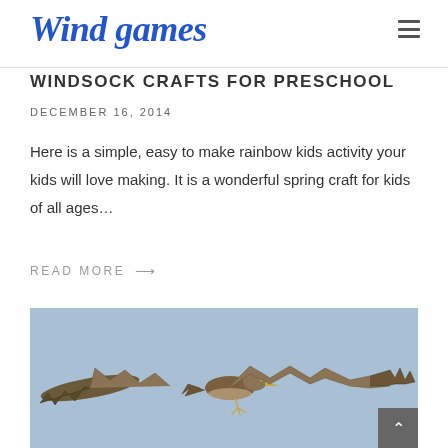Wind games
WINDSOCK CRAFTS FOR PRESCHOOL
DECEMBER 16, 2014
Here is a simple, easy to make rainbow kids activity your kids will love making. It is a wonderful spring craft for kids of all ages…
READ MORE →
[Figure (photo): A bird of prey (red kite) in flight against a clear blue sky, wings spread wide.]